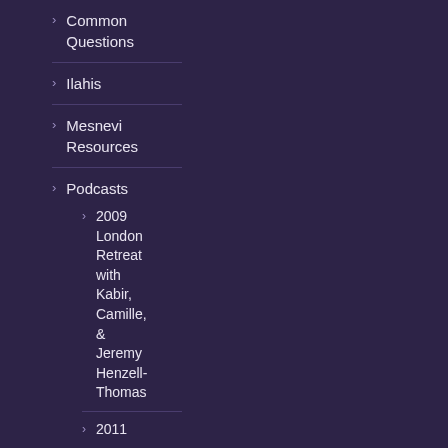> Common Questions
> Ilahis
> Mesnevi Resources
> Podcasts
> 2009 London Retreat with Kabir, Camille, & Jeremy Henzell-Thomas
> 2011